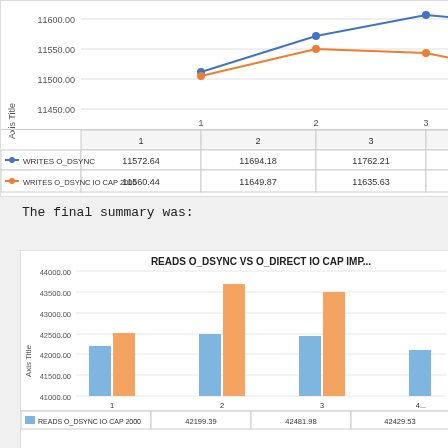[Figure (line-chart): Writes O_DSYNC comparison]
The final summary was:
[Figure (grouped-bar-chart): READS O_DSYNC VS O_DIRECT IO CAP IMP...]